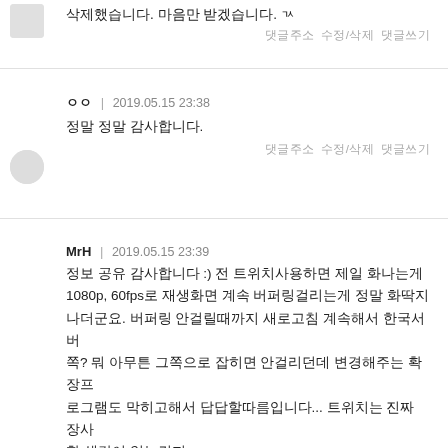삭제했습니다. 마음만 받겠습니다. ㄳ
댓글주소  수정/삭제  댓글쓰기
ㅇㅇ  |  2019.05.15 23:38
정말 정말 감사합니다.
댓글주소  수정/삭제  댓글쓰기
MrH  |  2019.05.15 23:39
정보 공유 감사합니다 :) 전 트위치사용하면 제일 화나는게 1080p, 60fps로 재생화면 계속 버퍼링걸리는게 정말 화딱지나더군요. 버퍼링 안걸릴때까지 새로고침 계속해서 한국서버쪽? 뭐 아무튼 그쪽으로 잡히면 안걸리던데 변경해주는 확장프로그램도 막히고해서 답답할따름입니다... 트위치는 진짜 장사할 생각이 없는건지
댓글주소  수정/삭제  댓글쓰기